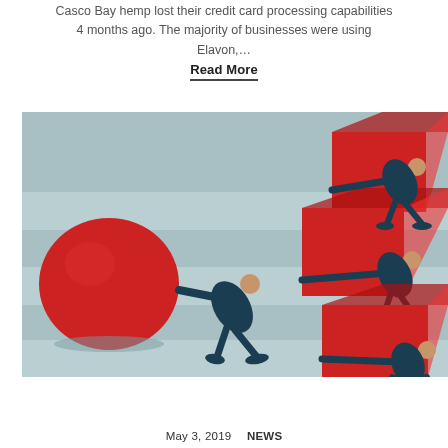Casco Bay hemp lost their credit card processing capabilities 4 months ago. The majority of businesses were using Elavon,…
Read More
[Figure (illustration): Illustration of business people pushing large red objects – one figure pushing a large red sphere and others pushing red rectangular blocks/cubes on a blue-grey striped background]
May 3, 2019   NEWS